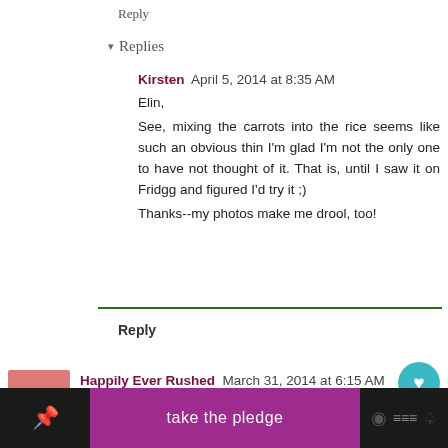Reply
▾ Replies
Kirsten  April 5, 2014 at 8:35 AM
Elin,
See, mixing the carrots into the rice seems like such an obvious thin I'm glad I'm not the only one to have not thought of it. That is, until I saw it on Fridgg and figured I'd try it ;)
Thanks--my photos make me drool, too!
Reply
Happily Ever Rushed  March 31, 2014 at 6:15 AM
I saw you on the Chicken Chick blog hop and this looks am...
My husband loves sushi and yours looks better than what you get
in a restaurant, thanks for sharing.
[Figure (other): Bottom navigation bar with pink/purple center section reading 'take the pledge', dark sides with social media icons including Pinterest, share, and other icons.]